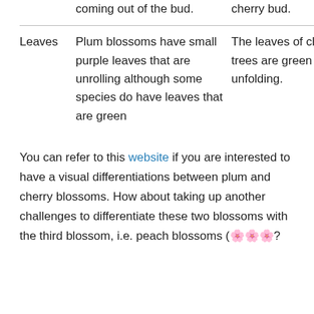|  | Plum | Cherry |
| --- | --- | --- |
|  | coming out of the bud. | cherry bud. |
| Leaves | Plum blossoms have small purple leaves that are unrolling although some species do have leaves that are green | The leaves of cherry trees are green and unfolding. |
You can refer to this website if you are interested to have a visual differentiations between plum and cherry blossoms. How about taking up another challenges to differentiate these two blossoms with the third blossom, i.e. peach blossoms (🌸🌸🌸?